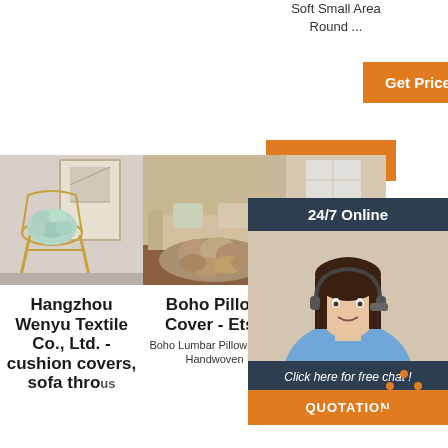Soft Small Area Round ...
[Figure (screenshot): Orange Get Price button (top center)]
[Figure (screenshot): Orange Get Price button (right side)]
[Figure (screenshot): 24/7 Online chat panel with agent photo, 'Click here for free chat!' text, and QUOTATION button]
[Figure (photo): Product image 1: chair with fluffy cushion]
[Figure (photo): Product image 2: large fluffy area rug on wooden floor]
[Figure (photo): Product image 3: room with sofa/furniture]
Hangzhou Wenyu Textile Co., Ltd. - cushion covers, sofa throws
Boho Pillow Cover - Etsy
Boho Pillow Covers - Target
Boho Lumbar Pillow Cover Handwoven
Shop for bohemian pillow covers online at Target. Choose